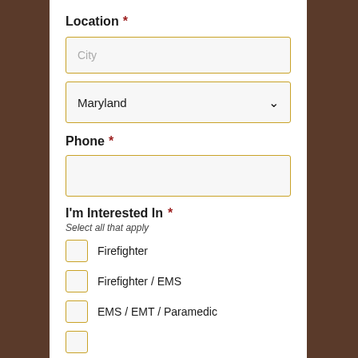Location *
City
Maryland
Phone *
I'm Interested In *
Select all that apply
Firefighter
Firefighter / EMS
EMS / EMT / Paramedic